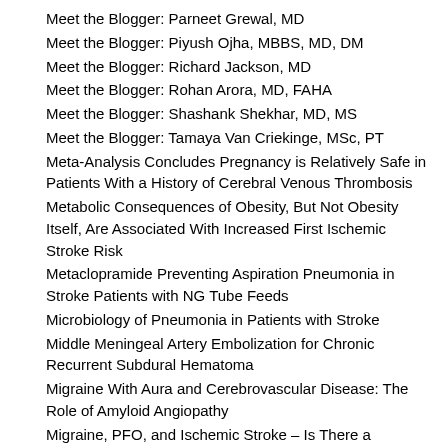Meet the Blogger: Parneet Grewal, MD
Meet the Blogger: Piyush Ojha, MBBS, MD, DM
Meet the Blogger: Richard Jackson, MD
Meet the Blogger: Rohan Arora, MD, FAHA
Meet the Blogger: Shashank Shekhar, MD, MS
Meet the Blogger: Tamaya Van Criekinge, MSc, PT
Meta-Analysis Concludes Pregnancy is Relatively Safe in Patients With a History of Cerebral Venous Thrombosis
Metabolic Consequences of Obesity, But Not Obesity Itself, Are Associated With Increased First Ischemic Stroke Risk
Metaclopramide Preventing Aspiration Pneumonia in Stroke Patients with NG Tube Feeds
Microbiology of Pneumonia in Patients with Stroke
Middle Meningeal Artery Embolization for Chronic Recurrent Subdural Hematoma
Migraine With Aura and Cerebrovascular Disease: The Role of Amyloid Angiopathy
Migraine, PFO, and Ischemic Stroke – Is There a Relationship?
Minor Stroke With High Risk: A New Neurological Deterioration Score
Mobile Stroke Units in the Management of Intracerebral Hemorrhage
Monogenic Causes of Cerebral Small Vessel Disease Reveal Themselves Beyond the Brain
More Than Meets the Eye: Widespread White Matter Changes After